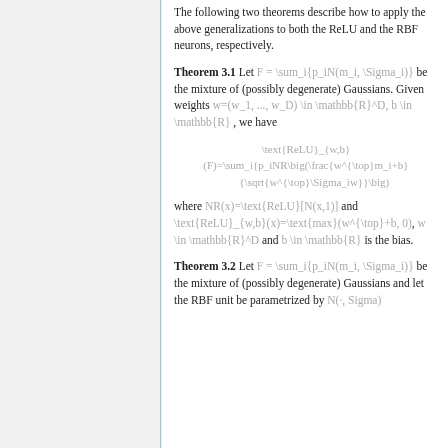The following two theorems describe how to apply the above generalizations to both the ReLU and the RBF neurons, respectively.
Theorem 3.1 Let F = \sum_i{p_iN(m_i, \Sigma_i)} be the mixture of (possibly degenerate) Gaussians. Given weights w=(w_1, ..., w_D) \in \mathbb{R}^D, b \in \mathbb{R} , we have
where NR(x)=\text{ReLU}[N(x,1)] and \text{ReLU}_{w,b}(x)=\text{max}(w^{\top}+b, 0), w \in \mathbb{R}^D and b \in \mathbb{R} is the bias.
Theorem 3.2 Let F = \sum_i{p_iN(m_i, \Sigma_i)} be the mixture of (possibly degenerate) Gaussians and let the RBF unit be parametrized by N(·, Sigma).